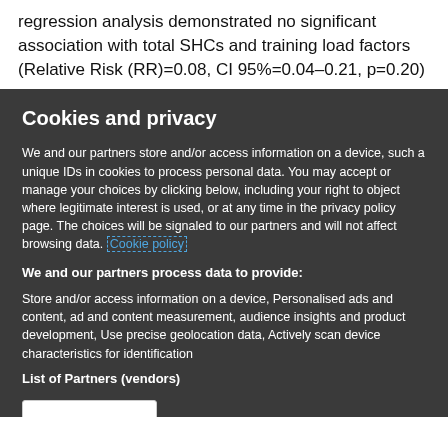regression analysis demonstrated no significant association with total SHCs and training load factors (Relative Risk (RR)=0.08, CI 95%=0.04–0.21, p=0.20)
Cookies and privacy
We and our partners store and/or access information on a device, such a unique IDs in cookies to process personal data. You may accept or manage your choices by clicking below, including your right to object where legitimate interest is used, or at any time in the privacy policy page. These choices will be signaled to our partners and will not affect browsing data. Cookie policy
We and our partners process data to provide:
Store and/or access information on a device, Personalised ads and content, ad and content measurement, audience insights and product development, Use precise geolocation data, Actively scan device characteristics for identification
List of Partners (vendors)
I Accept